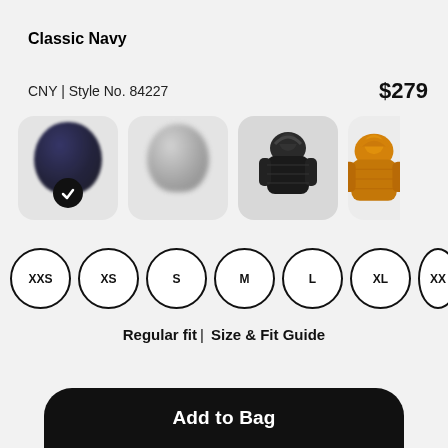Classic Navy
CNY | Style No. 84227   $279
[Figure (photo): Four jacket color swatches: navy (selected with checkmark), light gray, dark/black quilted jacket, and orange jacket (partially visible)]
XXS  XS  S  M  L  XL  XX (size circles)
Regular fit | Size & Fit Guide
Add to Bag